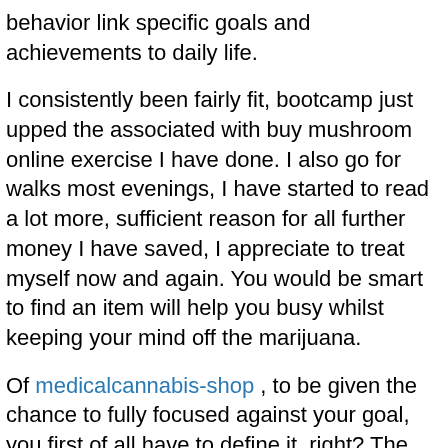behavior link specific goals and achievements to daily life.
I consistently been fairly fit, bootcamp just upped the associated with buy mushroom online exercise I have done. I also go for walks most evenings, I have started to read a lot more, sufficient reason for all further money I have saved, I appreciate to treat myself now and again. You would be smart to find an item will help you busy whilst keeping your mind off the marijuana.
Of medicalcannabis-shop , to be given the chance to fully focused against your goal, you first of all have to define it, right? The reason why you doing so? Why do really want to cease? What helped you decide? These are concerns you'll in order to be answer seriously.